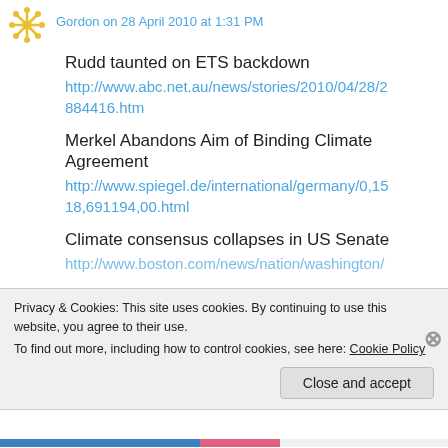Gordon on 28 April 2010 at 1:31 PM
Rudd taunted on ETS backdown
http://www.abc.net.au/news/stories/2010/04/28/2884416.htm
Merkel Abandons Aim of Binding Climate Agreement
http://www.spiegel.de/international/germany/0,1518,691194,00.html
Climate consensus collapses in US Senate
http://www.boston.com/news/nation/washington/
Privacy & Cookies: This site uses cookies. By continuing to use this website, you agree to their use.
To find out more, including how to control cookies, see here: Cookie Policy
Close and accept